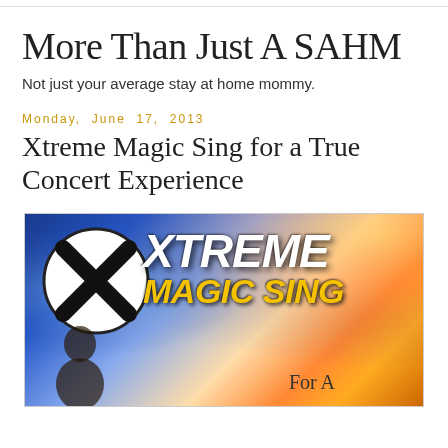More Than Just A SAHM
Not just your average stay at home mommy.
Monday, June 17, 2013
Xtreme Magic Sing for a True Concert Experience
[Figure (photo): Xtreme Magic Sing product promotional banner showing the logo with a large X in a circle, 'XTREME' text in white bold italic, 'MAGIC SING' in yellow bold italic, with a colorful concert light background and text 'For A' at the bottom]